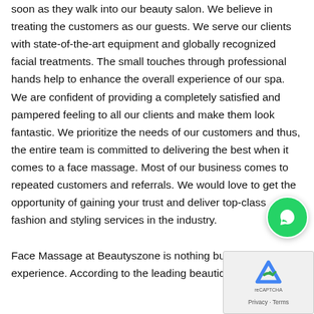soon as they walk into our beauty salon. We believe in treating the customers as our guests. We serve our clients with state-of-the-art equipment and globally recognized facial treatments. The small touches through professional hands help to enhance the overall experience of our spa. We are confident of providing a completely satisfied and pampered feeling to all our clients and make them look fantastic. We prioritize the needs of our customers and thus, the entire team is committed to delivering the best when it comes to a face massage. Most of our business comes to repeated customers and referrals. We would love to get the opportunity of gaining your trust and deliver top-class fashion and styling services in the industry.
Face Massage at Beautyszone is nothing but a pleasurable experience. According to the leading beauticians and...